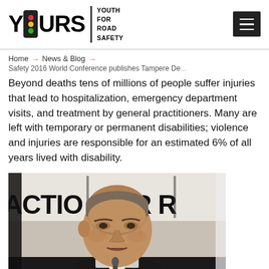YOURS | YOUTH FOR ROAD SAFETY
Home → News & Blog → Safety 2016 World Conference publishes Tampere De...
Beyond deaths tens of millions of people suffer injuries that lead to hospitalization, emergency department visits, and treatment by general practitioners. Many are left with temporary or permanent disabilities; violence and injuries are responsible for an estimated 6% of all years lived with disability.
[Figure (photo): A man in a dark suit speaking at a podium or event. Behind him is a large banner reading 'ACTION FOR R...' (partially visible). The man has short grey-brown hair and is viewed from a slightly elevated angle.]